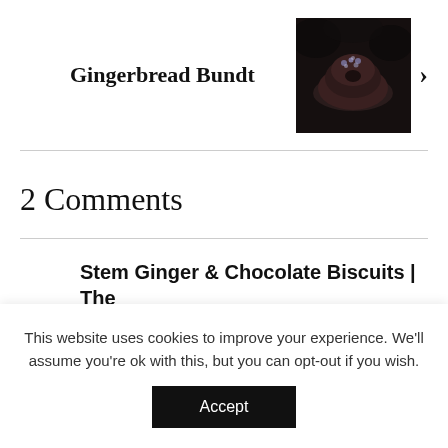Gingerbread Bundt
[Figure (photo): Dark moody photo of a gingerbread bundt cake on a dark background]
2 Comments
Stem Ginger & Chocolate Biscuits | The
This website uses cookies to improve your experience. We'll assume you're ok with this, but you can opt-out if you wish.
Accept